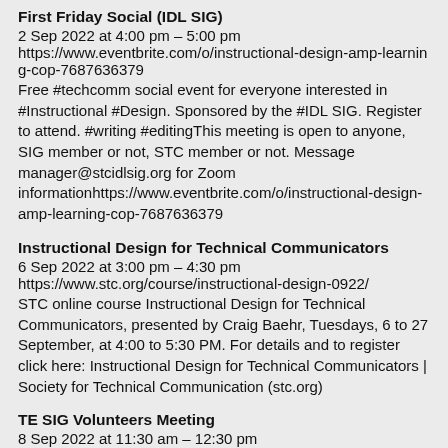First Friday Social (IDL SIG)
2 Sep 2022 at 4:00 pm – 5:00 pm
https://www.eventbrite.com/o/instructional-design-amp-learning-cop-7687636379
Free #techcomm social event for everyone interested in #Instructional #Design. Sponsored by the #IDL SIG. Register to attend. #writing #editingThis meeting is open to anyone, SIG member or not, STC member or not. Message manager@stcidlsig.org for Zoom informationhttps://www.eventbrite.com/o/instructional-design-amp-learning-cop-7687636379
Instructional Design for Technical Communicators
6 Sep 2022 at 3:00 pm – 4:30 pm
https://www.stc.org/course/instructional-design-0922/
STC online course Instructional Design for Technical Communicators, presented by Craig Baehr, Tuesdays, 6 to 27 September, at 4:00 to 5:30 PM. For details and to register click here: Instructional Design for Technical Communicators | Society for Technical Communication (stc.org)
TE SIG Volunteers Meeting
8 Sep 2022 at 11:30 am – 12:30 pm